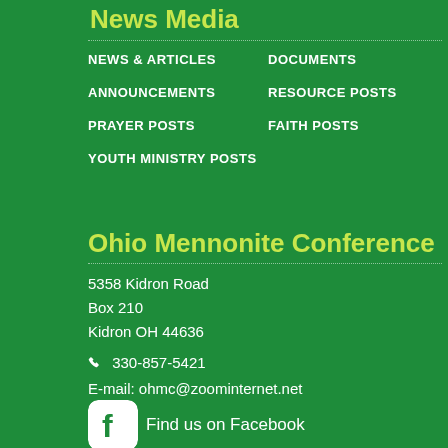News Media
NEWS & ARTICLES
DOCUMENTS
ANNOUNCEMENTS
RESOURCE POSTS
PRAYER POSTS
FAITH POSTS
YOUTH MINISTRY POSTS
Ohio Mennonite Conference
5358 Kidron Road
Box 210
Kidron OH 44636
330-857-5421
E-mail: ohmc@zoominternet.net
Find us on Facebook